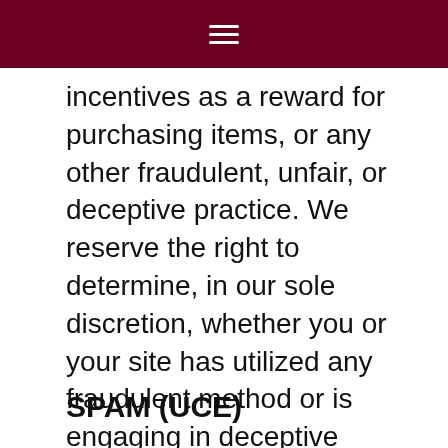≡
incentives as a reward for purchasing items, or any other fraudulent, unfair, or deceptive practice. We reserve the right to determine, in our sole discretion, whether you or your site has utilized any fraudulent method or is engaging in deceptive tactics. We may suspend or terminate your account if we have any reason to believe that you are committing fraud or deceit and at any time, in our sole discretion. If your account is suspended or terminated for fraud you will forgo any rights to compensation both paid, and unpaid.
SPAM (UCE)